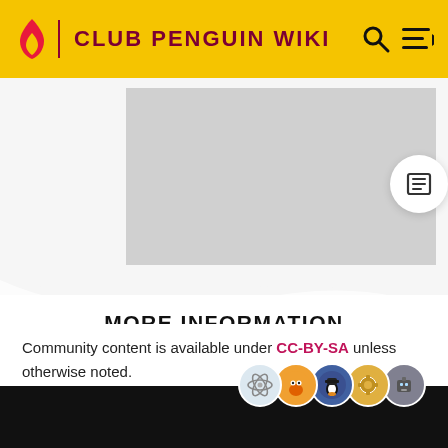CLUB PENGUIN WIKI
[Figure (screenshot): Gray placeholder image area for article content]
MORE INFORMATION
Top Contributors
[Figure (illustration): Row of five contributor avatar icons in circles]
Categories
Community content is available under CC-BY-SA unless otherwise noted.